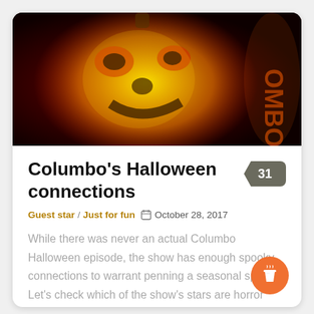[Figure (photo): A carved Halloween pumpkin glowing orange and yellow with a Columbo-like face design against a dark red/black background. Partial text 'OMBO' visible on the right side.]
Columbo's Halloween connections
Guest star / Just for fun  October 28, 2017
While there was never an actual Columbo Halloween episode, the show has enough spooky connections to warrant penning a seasonal special. Let's check which of the show's stars are horror icons in their own right.